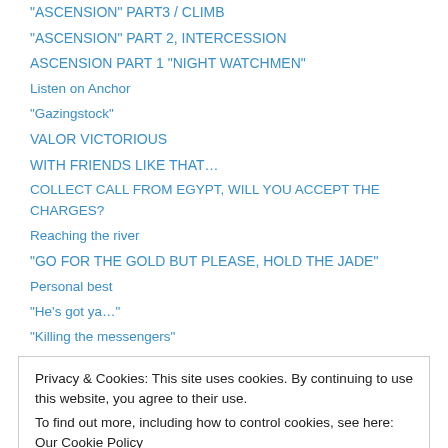“ASCENSION” PART3 / CLIMB
“ASCENSION” PART 2, INTERCESSION
ASCENSION PART 1 “NIGHT WATCHMEN”
Listen on Anchor
“Gazingstock”
VALOR VICTORIOUS
WITH FRIENDS LIKE THAT…
COLLECT CALL FROM EGYPT, WILL YOU ACCEPT THE CHARGES?
Reaching the river
"GO FOR THE GOLD BUT PLEASE, HOLD THE JADE"
Personal best
“He’s got ya…”
“Killing the messengers”
Privacy & Cookies: This site uses cookies. By continuing to use this website, you agree to their use. To find out more, including how to control cookies, see here: Our Cookie Policy
“Sparrows”